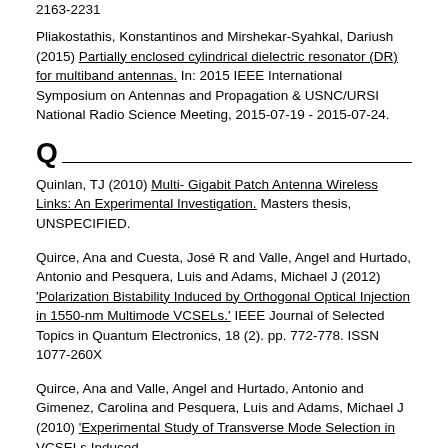2163-2231
Pliakostathis, Konstantinos and Mirshekar-Syahkal, Dariush (2015) Partially enclosed cylindrical dielectric resonator (DR) for multiband antennas. In: 2015 IEEE International Symposium on Antennas and Propagation & USNC/URSI National Radio Science Meeting, 2015-07-19 - 2015-07-24.
Q
Quinlan, TJ (2010) Multi- Gigabit Patch Antenna Wireless Links: An Experimental Investigation. Masters thesis, UNSPECIFIED.
Quirce, Ana and Cuesta, José R and Valle, Angel and Hurtado, Antonio and Pesquera, Luis and Adams, Michael J (2012) 'Polarization Bistability Induced by Orthogonal Optical Injection in 1550-nm Multimode VCSELs.' IEEE Journal of Selected Topics in Quantum Electronics, 18 (2). pp. 772-778. ISSN 1077-260X
Quirce, Ana and Valle, Angel and Hurtado, Antonio and Gimenez, Carolina and Pesquera, Luis and Adams, Michael J (2010) 'Experimental Study of Transverse Mode Selection in VCSELs Induced